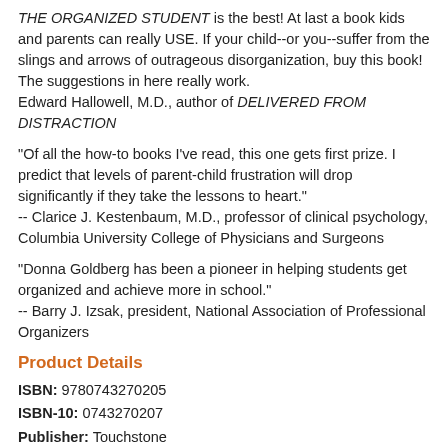THE ORGANIZED STUDENT is the best! At last a book kids and parents can really USE. If your child--or you--suffer from the slings and arrows of outrageous disorganization, buy this book! The suggestions in here really work.
Edward Hallowell, M.D., author of DELIVERED FROM DISTRACTION
"Of all the how-to books I've read, this one gets first prize. I predict that levels of parent-child frustration will drop significantly if they take the lessons to heart."
-- Clarice J. Kestenbaum, M.D., professor of clinical psychology, Columbia University College of Physicians and Surgeons
"Donna Goldberg has been a pioneer in helping students get organized and achieve more in school."
-- Barry J. Izsak, president, National Association of Professional Organizers
Product Details
ISBN: 9780743270205
ISBN-10: 0743270207
Publisher: Touchstone
Publication Date: July 5th, 2005